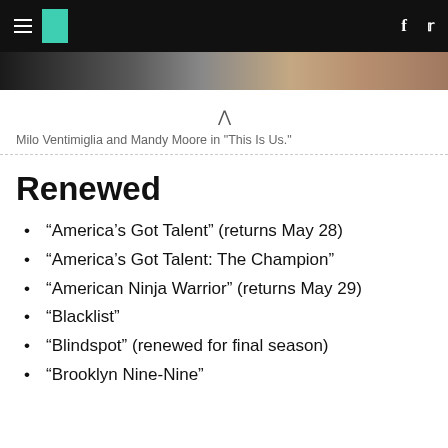HuffPost navigation with logo, Facebook and Twitter icons
[Figure (photo): Partial image strip showing Milo Ventimiglia and Mandy Moore in a scene from 'This Is Us']
Milo Ventimiglia and Mandy Moore in "This Is Us."
Renewed
“America’s Got Talent” (returns May 28)
“America’s Got Talent: The Champion”
“American Ninja Warrior” (returns May 29)
“Blacklist”
“Blindspot” (renewed for final season)
“Brooklyn Nine-Nine”